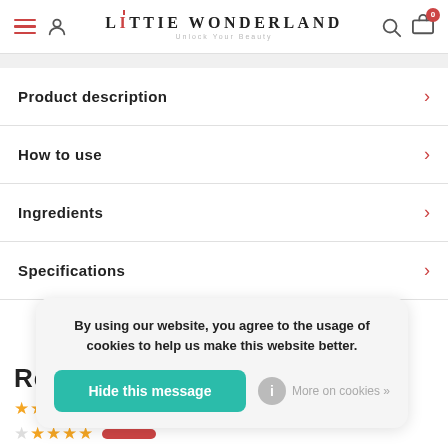Little Wonderland - Unlock Your Beauty
Product description
How to use
Ingredients
Specifications
By using our website, you agree to the usage of cookies to help us make this website better.
Hide this message
More on cookies »
Wonder Points
(partial reviews section visible)